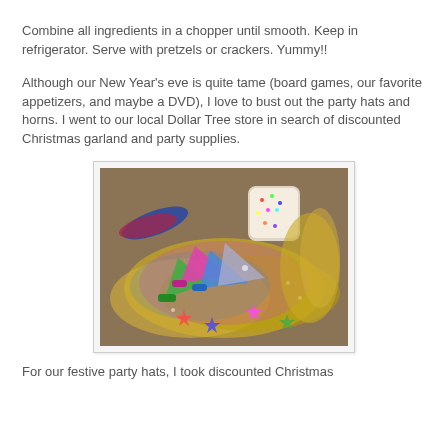Combine all ingredients in a chopper until smooth. Keep in refrigerator. Serve with pretzels or crackers. Yummy!!
Although our New Year's eve is quite tame (board games, our favorite appetizers, and maybe a DVD), I love to bust out the party hats and horns. I went to our local Dollar Tree store in search of discounted Christmas garland and party supplies.
[Figure (photo): Photo of New Year's party supplies including tinsel garland, party horns, beaded necklaces, and a jar of sprinkles on a cardboard surface.]
For our festive party hats, I took discounted Christmas